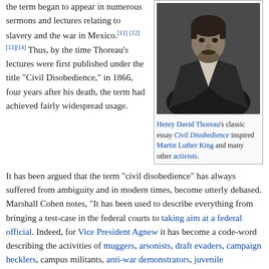the term began to appear in numerous sermons and lectures relating to slavery and the war in Mexico.[11][12][13][14] Thus, by the time Thoreau's lectures were first published under the title "Civil Disobedience," in 1866, four years after his death, the term had achieved fairly widespread usage.
[Figure (photo): Black and white photograph of Henry David Thoreau, a man in dark clothing with a beard.]
Henry David Thoreau's classic essay Civil Disobedience inspired Martin Luther King and many other activists.
It has been argued that the term "civil disobedience" has always suffered from ambiguity and in modern times, become utterly debased. Marshall Cohen notes, "It has been used to describe everything from bringing a test-case in the federal courts to taking aim at a federal official. Indeed, for Vice President Agnew it has become a code-word describing the activities of muggers, arsonists, draft evaders, campaign hecklers, campus militants, anti-war demonstrators, juvenile delinquents and political assassins."[15]
LeGrande writes that "the formulation of a single all-encompassing